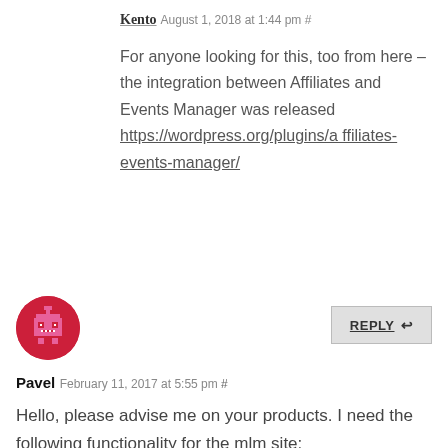Kento August 1, 2018 at 1:44 pm #
For anyone looking for this, too from here – the integration between Affiliates and Events Manager was released https://wordpress.org/plugins/affiliates-events-manager/
[Figure (illustration): Red circular avatar with a pixelated/8-bit style printer or robot icon in pink/magenta]
REPLY ↩
Pavel February 11, 2017 at 5:55 pm #
Hello, please advise me on your products. I need the following functionality for the mlm site: